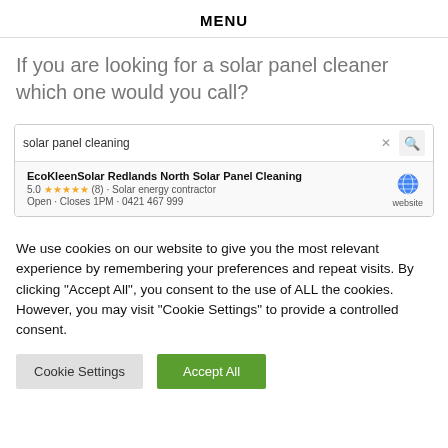MENU
If you are looking for a solar panel cleaner which one would you call?
[Figure (screenshot): Google search bar showing 'solar panel cleaning' query with a result for EcoKleenSolar Redlands North Solar Panel Cleaning, rated 5.0 stars (8 reviews), Solar energy contractor, Open - Closes 1PM, 0421 467 999, with a website globe icon link.]
We use cookies on our website to give you the most relevant experience by remembering your preferences and repeat visits. By clicking "Accept All", you consent to the use of ALL the cookies. However, you may visit "Cookie Settings" to provide a controlled consent.